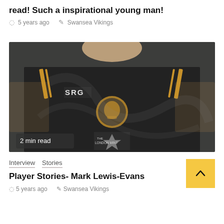read! Such a inspirational young man!
5 years ago   Swansea Vikings
[Figure (photo): Person wearing a dark SAG branded rugby jersey with a Viking logo and The London Mint sponsor badge, photo cropped at torso level. Badge overlay reads '2 min read'.]
Interview  Stories
Player Stories- Mark Lewis-Evans
5 years ago   Swansea Vikings